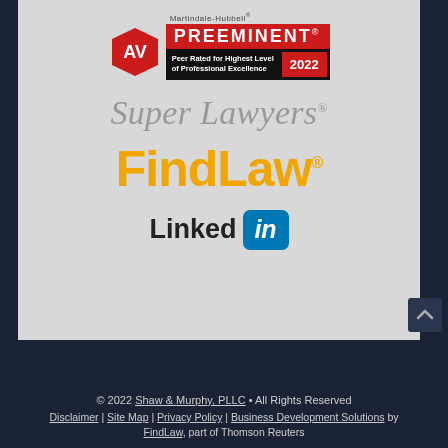[Figure (logo): AV Preeminent Martindale-Hubbell 2022 badge, Super Lawyers logo, FindLaw logo, LinkedIn logo on grey background]
© 2022 Shaw & Murphy, PLLC • All Rights Reserved
Disclaimer | Site Map | Privacy Policy | Business Development Solutions by FindLaw, part of Thomson Reuters